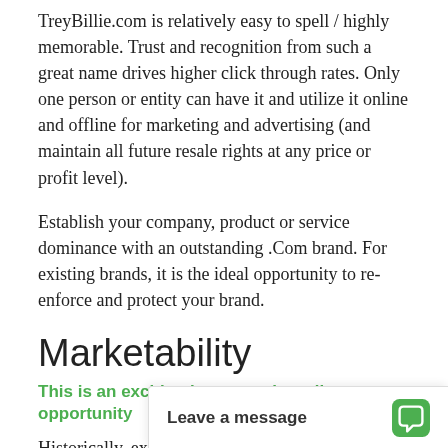TreyBillie.com is relatively easy to spell / highly memorable. Trust and recognition from such a great name drives higher click through rates. Only one person or entity can have it and utilize it online and offline for marketing and advertising (and maintain all future resale rights at any price or profit level).
Establish your company, product or service dominance with an outstanding .Com brand. For existing brands, it is the ideal opportunity to re-enforce and protect your brand.
Marketability
This is an exciting long term branding opportunity
Historically, exact match keywords have been rated higher in relevancy for search engine ranking. A super-premium .Com domain from DomainMarket.com...
Leave a message